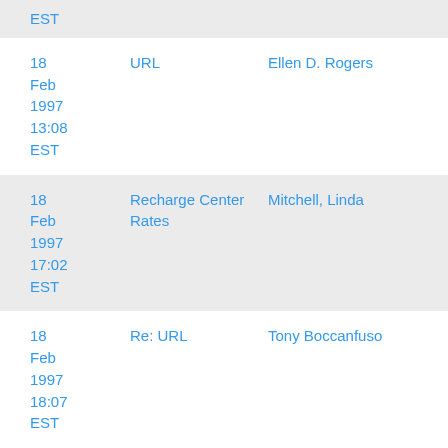| Date | Subject | Sender |
| --- | --- | --- |
| EST |  |  |
| 18 Feb 1997 13:08 EST | URL | Ellen D. Rogers |
| 18 Feb 1997 17:02 EST | Recharge Center Rates | Mitchell, Linda |
| 18 Feb 1997 18:07 EST | Re: URL | Tony Boccanfuso |